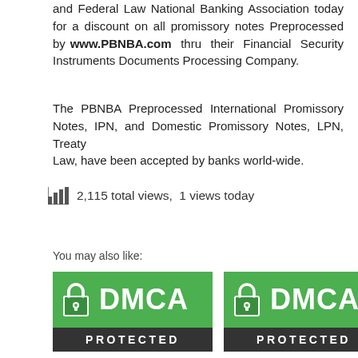and Federal Law National Banking Association today for a discount on all promissory notes Preprocessed by www.PBNBA.com thru their Financial Security Instruments Documents Processing Company.
The PBNBA Preprocessed International Promissory Notes, IPN, and Domestic Promissory Notes, LPN, Treaty Law, have been accepted by banks world-wide.
2,115 total views,  1 views today
You may also like:
[Figure (logo): DMCA Protected badge - green top with lock icon and DMCA text, dark bottom with PROTECTED text]
[Figure (logo): DMCA Protected badge - green top with lock icon and DMCA text, dark bottom with PROTECTED text]